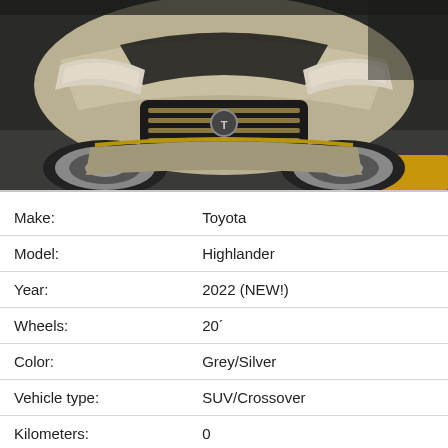[Figure (photo): Front view of a grey/silver Toyota Highlander 2022 SUV parked outdoors, close-up showing the grille, headlights, and front bumper against a dark asphalt background with some orange/yellow color at the bottom right.]
| Make: | Toyota |
| Model: | Highlander |
| Year: | 2022 (NEW!) |
| Wheels: | 20´ |
| Color: | Grey/Silver |
| Vehicle type: | SUV/Crossover |
| Kilometers: | 0 |
| Export status: | Can be exported |